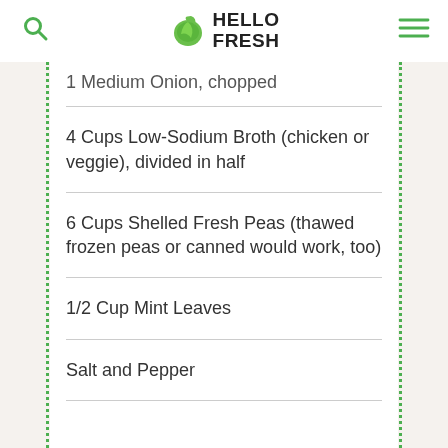HELLO FRESH
1 Medium Onion, chopped
4 Cups Low-Sodium Broth (chicken or veggie), divided in half
6 Cups Shelled Fresh Peas (thawed frozen peas or canned would work, too)
1/2 Cup Mint Leaves
Salt and Pepper